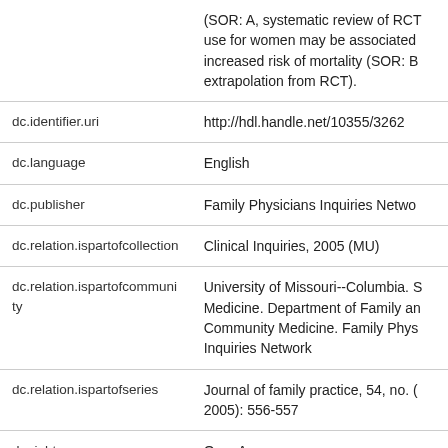| Field | Value |
| --- | --- |
|  | (SOR: A, systematic review of RCT use for women may be associated increased risk of mortality (SOR: B extrapolation from RCT). |
| dc.identifier.uri | http://hdl.handle.net/10355/3262 |
| dc.language | English |
| dc.publisher | Family Physicians Inquiries Netwo |
| dc.relation.ispartofcollection | Clinical Inquiries, 2005 (MU) |
| dc.relation.ispartofcommunity | University of Missouri--Columbia. S Medicine. Department of Family an Community Medicine. Family Phys Inquiries Network |
| dc.relation.ispartofseries | Journal of family practice, 54, no. ( 2005): 556-557 |
| dc.rights | OpenAccess. |
| dc.rights.license | This work is licensed under a Crea |